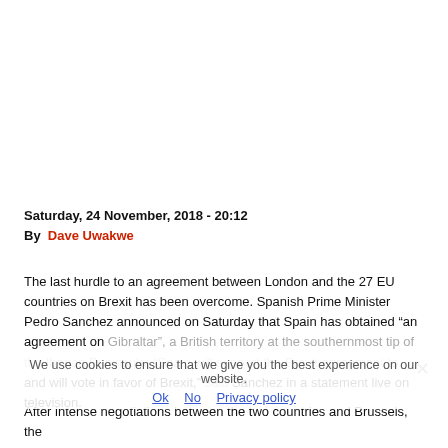Saturday, 24 November, 2018 - 20:12
By  Dave Uwakwe
The last hurdle to an agreement between London and the 27 EU countries on Brexit has been overcome. Spanish Prime Minister Pedro Sanchez announced on Saturday that Spain has obtained “an agreement on Gibraltar”, a British territory at the southernmost tip of the Iberian Peninsula. “Spain will support the Brexit agreement and will vote in favor of Brexit,” said Sanchez in a statement live on television.
We use cookies to ensure that we give you the best experience on our website.
Ok   No   Privacy policy
After intense negotiations between the two countries and Brussels, the